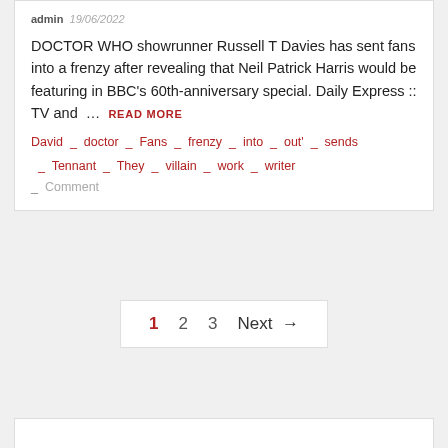admin  19/06/2022
DOCTOR WHO showrunner Russell T Davies has sent fans into a frenzy after revealing that Neil Patrick Harris would be featuring in BBC's 60th-anniversary special. Daily Express :: TV and …  READ MORE
David  _  doctor  _  Fans  _  frenzy  _  into  _  out'  _  sends  _  Tennant  _  They  _  villain  _  work  _  writer
_  Comment
1  2  3  Next →